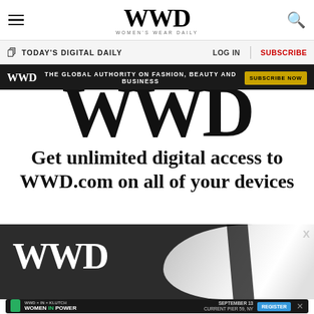WWD — Women's Wear Daily
TODAY'S DIGITAL DAILY   LOG IN   SUBSCRIBE
[Figure (screenshot): WWD advertisement banner: black background with WWD logo, tagline 'THE GLOBAL AUTHORITY ON FASHION, BEAUTY AND BUSINESS', and 'SUBSCRIBE NOW' button in gold]
[Figure (logo): Large WWD logo watermark letters in bold black]
Get unlimited digital access to WWD.com on all of your devices
[Figure (photo): Dark background promotional image with large white WWD logo text on the left and a fashion image (white fabric/garment) on the right, with an X close button]
[Figure (infographic): Bottom advertisement strip: WWD x In x Klutch — Women in Power event, September 13, Current Pier 59, NY, with Register button]